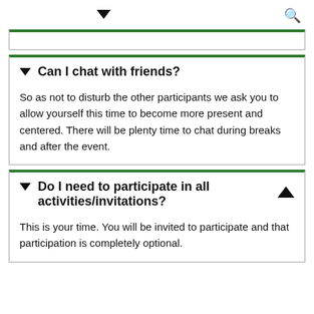▼ 🔍
Can I chat with friends?
So as not to disturb the other participants we ask you to allow yourself this time to become more present and centered. There will be plenty time to chat during breaks and after the event.
Do I need to participate in all activities/invitations?
This is your time. You will be invited to participate and that participation is completely optional.